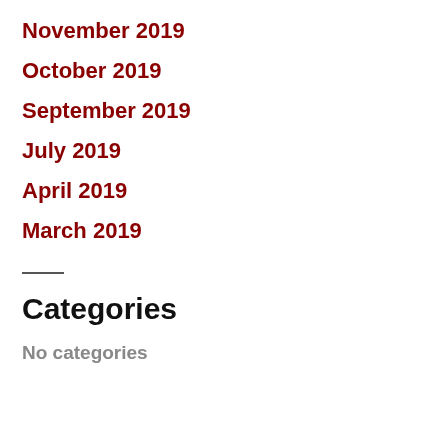November 2019
October 2019
September 2019
July 2019
April 2019
March 2019
Categories
No categories